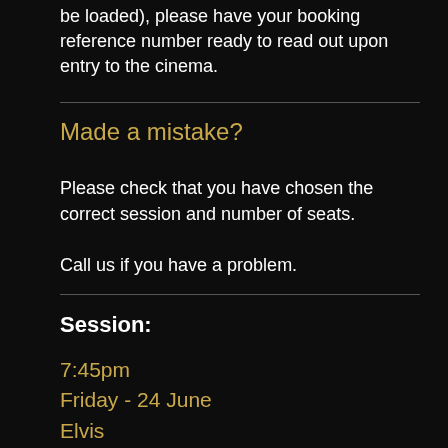be loaded), please have your booking reference number ready to read out upon entry to the cinema.
Made a mistake?
Please check that you have chosen the correct session and number of seats.
Call us if you have a problem.
Session:
7:45pm
Friday - 24 June
Elvis
Sorry, this session is not currently open for bookings.